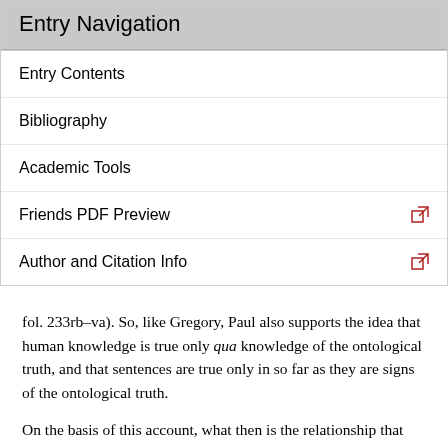Entry Navigation
Entry Contents
Bibliography
Academic Tools
Friends PDF Preview
Author and Citation Info
fol. 233rb–va). So, like Gregory, Paul also supports the idea that human knowledge is true only qua knowledge of the ontological truth, and that sentences are true only in so far as they are signs of the ontological truth.
On the basis of this account, what then is the relationship that holds between atomic objects (the incomplexa or categorial items) and molecular objects (or complexa or complexe significabilia)? And what is (if anything is) the significate of a false proposition? Paul answers these questions in the Logica Magna and in the commentary on the Categories. His conception undergoes a certain